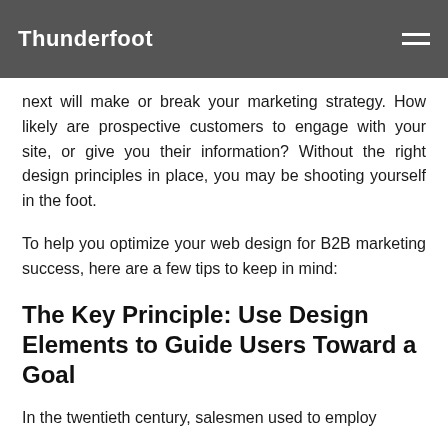Thunderfoot
count when connecting with users. Attracting your users attention is important, but what happens next will make or break your marketing strategy. How likely are prospective customers to engage with your site, or give you their information? Without the right design principles in place, you may be shooting yourself in the foot.
To help you optimize your web design for B2B marketing success, here are a few tips to keep in mind:
The Key Principle: Use Design Elements to Guide Users Toward a Goal
In the twentieth century, salesmen used to employ